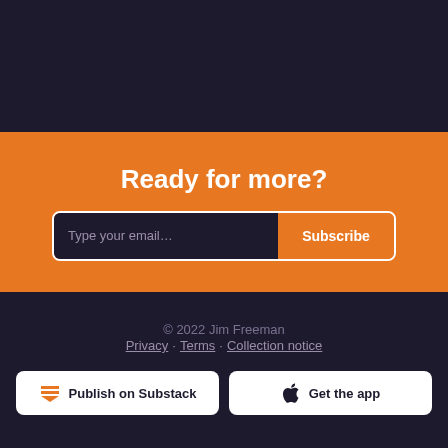Ready for more?
Type your email…
Subscribe
© 2022 Jim Freeman
Privacy · Terms · Collection notice
Publish on Substack
Get the app